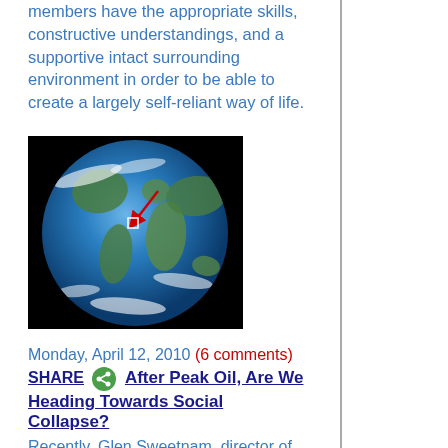members have the appropriate skills, constructive understandings, and a supportive intact surrounding environment in order to be able to create a largely self-reliant way of life.
[Figure (photo): Photograph of Earth from space, showing continents and clouds, with red and white arrow/marker overlaid]
Monday, April 12, 2010 (6 comments)
SHARE [icon] After Peak Oil, Are We Heading Towards Social Collapse?
Recently, Glen Sweetnam, director of the International, Economic and Greenhouse Gas division of the Energy Information Administration at the DoE, announced that worldwide oil availability had reached a "plateau". How can we get ready for the inevitable oil and other fossil fuel deficits? Is it even possible to prepare without massive problems? What are